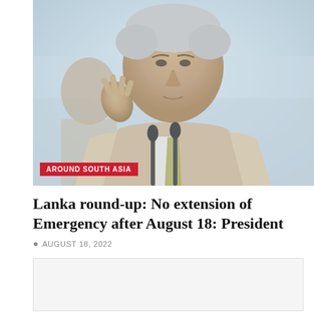[Figure (photo): A man in a beige/cream suit with a gold tie, gesturing with one hand raised, speaking in front of microphones. Another person is partially visible in the background. The image has a light, faded tone.]
AROUND SOUTH ASIA
Lanka round-up: No extension of Emergency after August 18: President
AUGUST 18, 2022